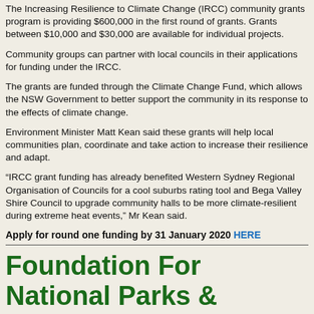The Increasing Resilience to Climate Change (IRCC) community grants program is providing $600,000 in the first round of grants. Grants between $10,000 and $30,000 are available for individual projects.
Community groups can partner with local councils in their applications for funding under the IRCC.
The grants are funded through the Climate Change Fund, which allows the NSW Government to better support the community in its response to the effects of climate change.
Environment Minister Matt Kean said these grants will help local communities plan, coordinate and take action to increase their resilience and adapt.
“IRCC grant funding has already benefited Western Sydney Regional Organisation of Councils for a cool suburbs rating tool and Bega Valley Shire Council to upgrade community halls to be more climate-resilient during extreme heat events,” Mr Kean said.
Apply for round one funding by 31 January 2020 HERE
Foundation For National Parks & Wildlife Community Conservation Grants Are Now Open For Applications